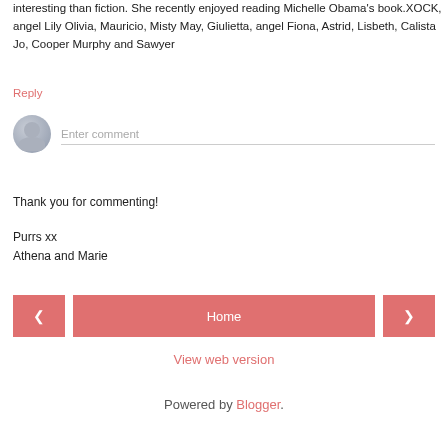interesting than fiction. She recently enjoyed reading Michelle Obama's book.XOCK, angel Lily Olivia, Mauricio, Misty May, Giulietta, angel Fiona, Astrid, Lisbeth, Calista Jo, Cooper Murphy and Sawyer
Reply
[Figure (other): Comment input field with avatar icon and placeholder text 'Enter comment']
Thank you for commenting!
Purrs xx
Athena and Marie
[Figure (infographic): Navigation bar with left arrow button, Home button, and right arrow button]
View web version
Powered by Blogger.